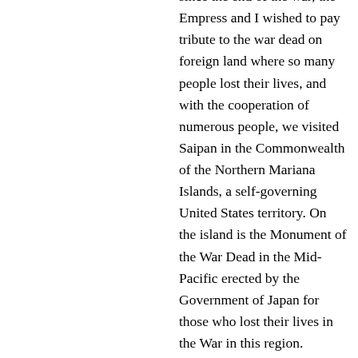since the end of the war, the Empress and I wished to pay tribute to the war dead on foreign land where so many people lost their lives, and with the cooperation of numerous people, we visited Saipan in the Commonwealth of the Northern Mariana Islands, a self-governing United States territory. On the island is the Monument of the War Dead in the Mid-Pacific erected by the Government of Japan for those who lost their lives in the War in this region.
Saipan, a formerly German territory, was made a trust territory of Japan by the